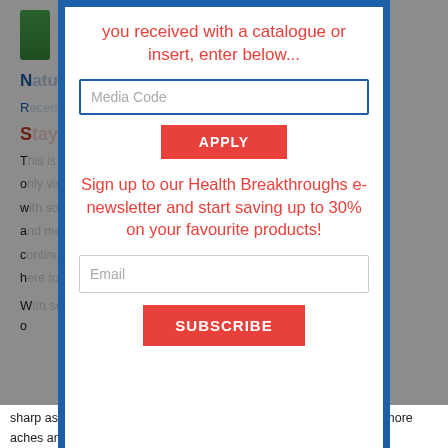you received with a catalogue or insert, enter below...
Media Code
APPLY
Sign up to our Health Breakthroughs e-newsletter and start saving up to 30% on your favourite products!
Email
SUBSCRIBE
sharp as it used to be, or you get out of breath more easily, or have more aches and pains than usual or perhaps aren't quite as